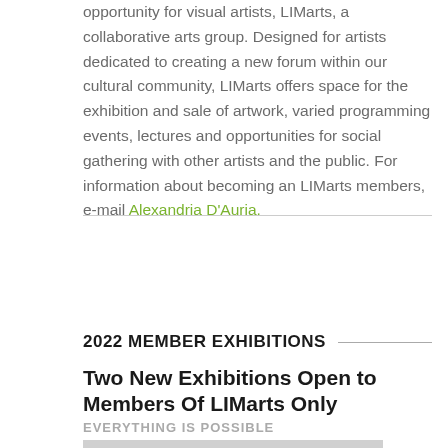opportunity for visual artists, LIMarts, a collaborative arts group. Designed for artists dedicated to creating a new forum within our cultural community, LIMarts offers space for the exhibition and sale of artwork, varied programming events, lectures and opportunities for social gathering with other artists and the public. For information about becoming an LIMarts members, e-mail Alexandria D'Auria.
2022 MEMBER EXHIBITIONS
Two New Exhibitions Open to Members Of LIMarts Only
EVERYTHING IS POSSIBLE
[Figure (photo): Partial image strip visible at the bottom of the page, gray/light colored]
The Long